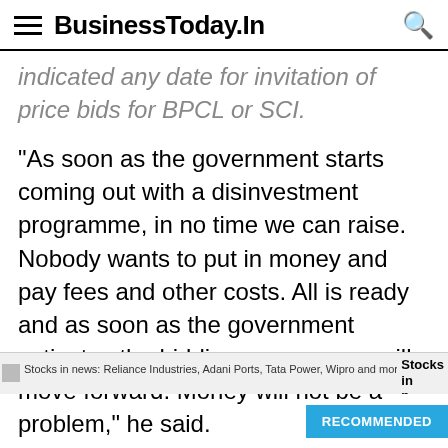BusinessToday.In
indicated any date for invitation of price bids for BPCL or SCI.
"As soon as the government starts coming out with a disinvestment programme, in no time we can raise. Nobody wants to put in money and pay fees and other costs. All is ready and as soon as the government activates the bidding process, we will move forward. Money will not be a problem," he said.
Agarwal, who turned a tiny scrap metal business into London-headquartered Vedanta Resources,
Stocks in news: Reliance Industries, Adani Ports, Tata Power, Wipro and more   Stocks in n...   RECOMMENDED